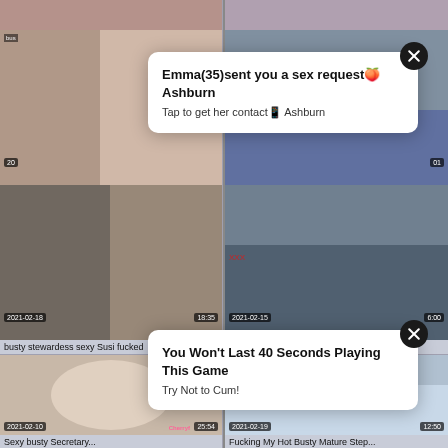[Figure (screenshot): Video thumbnail grid showing adult video thumbnails with dates and durations, overlaid with two popup advertisement boxes]
Emma(35)sent you a sex request Ashburn
Tap to get her contact Ashburn
You Won't Last 40 Seconds Playing This Game
Try Not to Cum!
busty stewardess sexy Susi fucked
Busty and hairy French mature gets
Sexy busty Secretary...
Fucking My Hot Busty Mature Step...